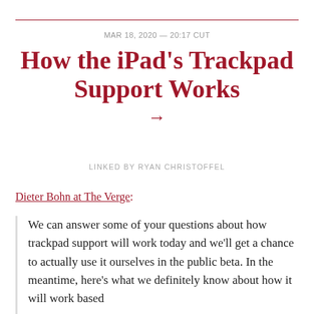MAR 18, 2020 — 20:17 CUT
How the iPad's Trackpad Support Works
→
LINKED BY RYAN CHRISTOFFEL
Dieter Bohn at The Verge:
We can answer some of your questions about how trackpad support will work today and we'll get a chance to actually use it ourselves in the public beta. In the meantime, here's what we definitely know about how it will work based